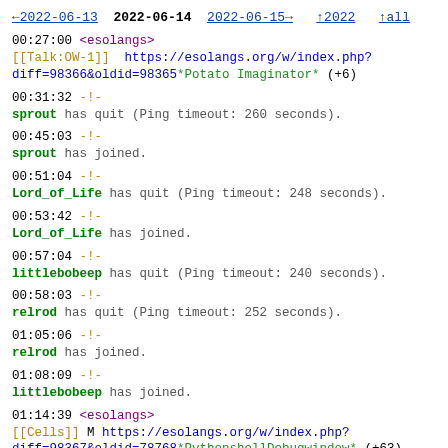←2022-06-13  2022-06-14  2022-06-15→  ↑2022  ↑all
00:27:00 <esolangs>
[[Talk:OW-1]]  https://esolangs.org/w/index.php?diff=98366&oldid=98365*Potato Imaginator* (+6)
00:31:32 -!-
sprout has quit (Ping timeout: 260 seconds).
00:45:03 -!-
sprout has joined.
00:51:04 -!-
Lord_of_Life has quit (Ping timeout: 248 seconds).
00:53:42 -!-
Lord_of_Life has joined.
00:57:04 -!-
littlebobeep has quit (Ping timeout: 240 seconds).
00:58:03 -!-
relrod has quit (Ping timeout: 252 seconds).
01:05:06 -!-
relrod has joined.
01:08:09 -!-
littlebobeep has joined.
01:14:39 <esolangs>
[[Cells]] M https://esolangs.org/w/index.php?diff=98367&oldid=78768*PythonshellDebugwindow* (+63)
Deadlinks, header, fix link